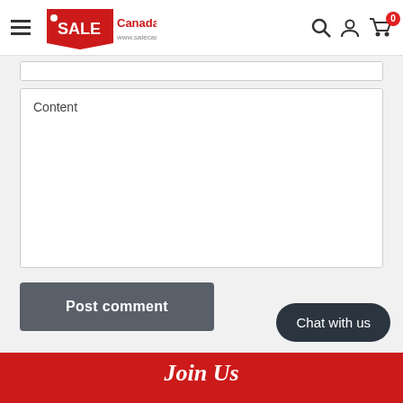SALE Canada Inc — www.salecanada.ca
Content
Post comment
Chat with us
Join Us